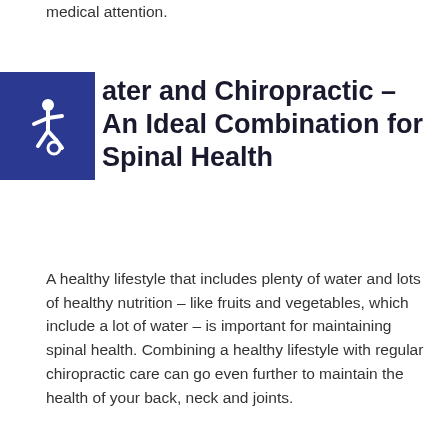medical attention.
Water and Chiropractic – An Ideal Combination for Spinal Health
A healthy lifestyle that includes plenty of water and lots of healthy nutrition – like fruits and vegetables, which include a lot of water – is important for maintaining spinal health. Combining a healthy lifestyle with regular chiropractic care can go even further to maintain the health of your back, neck and joints.
Comprehensive chiropractic care can include things like nutritional and lifestyle consultations – to help you develop healthy habits – along with regular chiropractic adjustments. You can work with your chiropractor to build healthier habits and get help achieving proper spinal